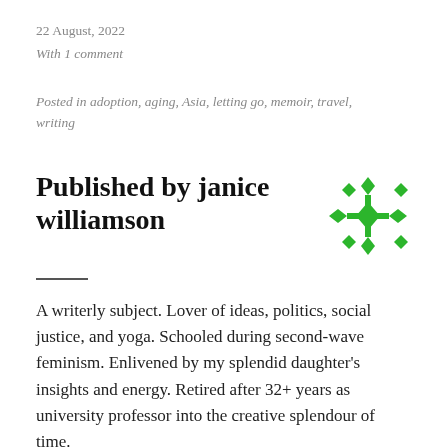22 August, 2022
With 1 comment
Posted in adoption, aging, Asia, letting go, memoir, travel, writing
Published by janice williamson
[Figure (illustration): Green geometric diamond/snowflake pattern avatar icon for janice williamson]
A writerly subject. Lover of ideas, politics, social justice, and yoga. Schooled during second-wave feminism. Enlivened by my splendid daughter's insights and energy. Retired after 32+ years as university professor into the creative splendour of time.